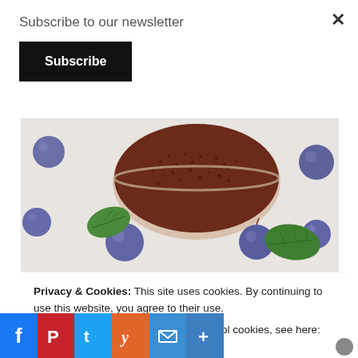Subscribe to our newsletter
Subscribe
[Figure (photo): Bowl of chia seeds with blueberries and green mint leaves on a white surface]
MAKE YOUR OWN CHIA JUICE
Privacy & Cookies: This site uses cookies. By continuing to use this website, you agree to their use.
To find out more, including how to control cookies, see here: Cookie Policy
Close and accept
f  P  t  y  ✉  +